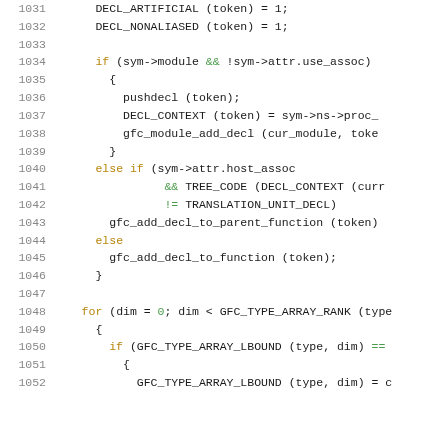Source code listing lines 1031-1052, C/GCC compiler code